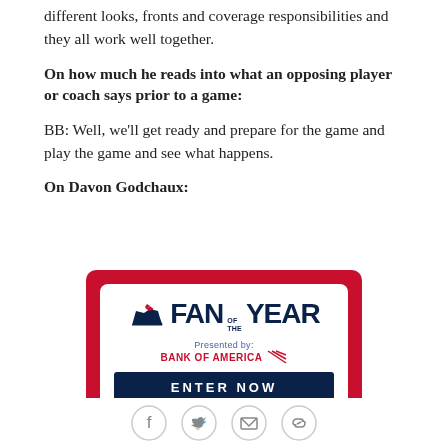different looks, fronts and coverage responsibilities and they all work well together.
On how much he reads into what an opposing player or coach says prior to a game:
BB: Well, we'll get ready and prepare for the game and play the game and see what happens.
On Davon Godchaux:
[Figure (advertisement): New England Patriots Fan of the Year advertisement, presented by Bank of America, with an 'Enter Now' button on a red and white background.]
[Figure (infographic): Social media sharing icons: Facebook, Twitter, email, and link.]